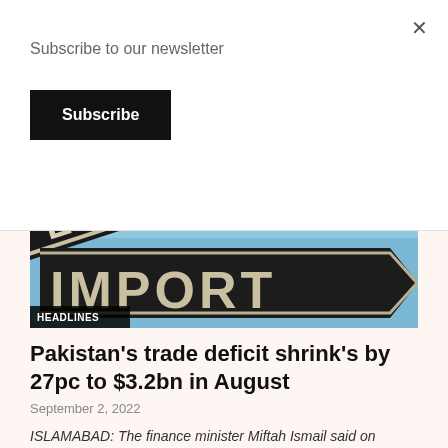Subscribe to our newsletter
Subscribe
[Figure (photo): Street sign showing 'EXPORT' and 'IMPORT' on black sign boards against a blue sky background, with a HEADLINES badge overlay in the lower left corner.]
Pakistan's trade deficit shrink's by 27pc to $3.2bn in August
September 2, 2022
ISLAMABAD: The finance minister Miftah Ismail said on Thursday that Pakistan's trade deficit for the month of August decreased by 27% due to the...